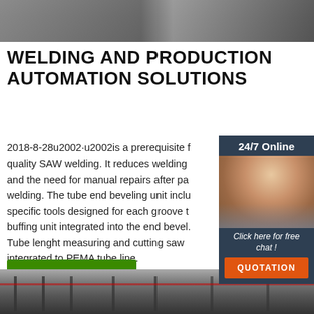[Figure (photo): Top photo showing industrial/welding workshop equipment, partially visible]
WELDING AND PRODUCTION AUTOMATION SOLUTIONS
2018-8-28u2002·u2002is a prerequisite for quality SAW welding. It reduces welding and the need for manual repairs after pa welding. The tube end beveling unit inclu specific tools designed for each groove t buffing unit integrated into the end bevel. Tube lenght measuring and cutting saw integrated to PEMA tube line.
[Figure (photo): Sidebar with customer service representative wearing headset, dark blue background, '24/7 Online' text, 'Click here for free chat!' and 'QUOTATION' button]
[Figure (photo): Get Price green button]
[Figure (photo): Bottom photo showing industrial factory/warehouse interior with steel structure and crane]